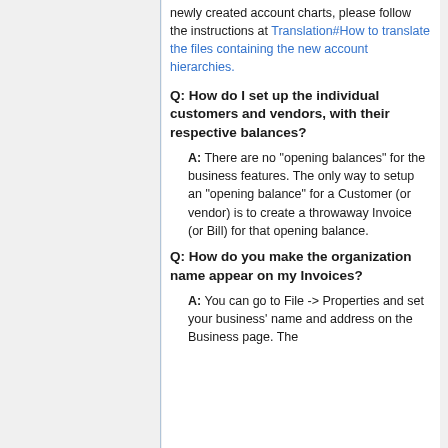newly created account charts, please follow the instructions at Translation#How to translate the files containing the new account hierarchies.
Q: How do I set up the individual customers and vendors, with their respective balances?
A: There are no "opening balances" for the business features. The only way to setup an "opening balance" for a Customer (or vendor) is to create a throwaway Invoice (or Bill) for that opening balance.
Q: How do you make the organization name appear on my Invoices?
A: You can go to File -> Properties and set your business' name and address on the Business page. The